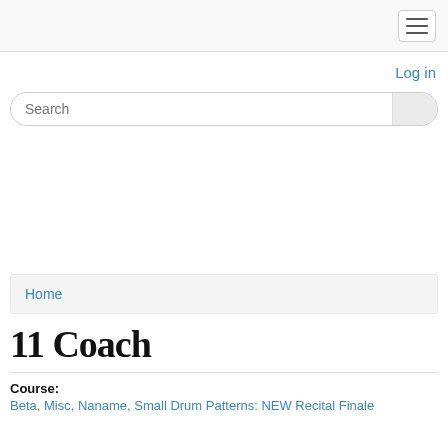Navigation header bar with hamburger menu
Log in
Search
Home
11 Coach
Course: Beta, Misc, Naname, Small Drum Patterns: NEW Recital Finale